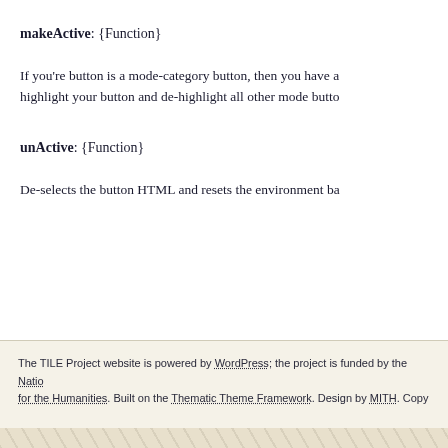makeActive: {Function}
If you're button is a mode-category button, then you have a highlight your button and de-highlight all other mode butto
unActive: {Function}
De-selects the button HTML and resets the environment ba
The TILE Project website is powered by WordPress; the project is funded by the Natio for the Humanities. Built on the Thematic Theme Framework. Design by MITH. Copy